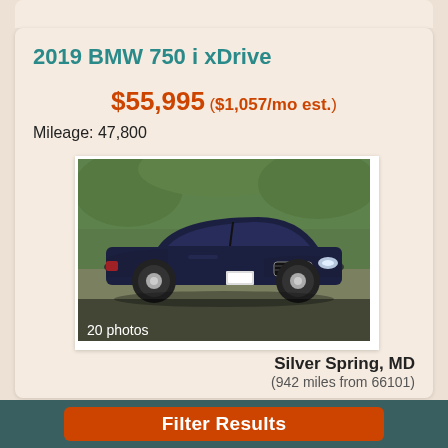2019 BMW 750 i xDrive
$55,995 ($1,057/mo est.)
Mileage: 47,800
[Figure (photo): Front 3/4 view of a dark blue 2019 BMW 750i xDrive sedan parked outdoors with green trees in background. Badge shows 20 photos overlay in bottom left.]
Silver Spring, MD
(942 miles from 66101)
Save this car
Filter Results